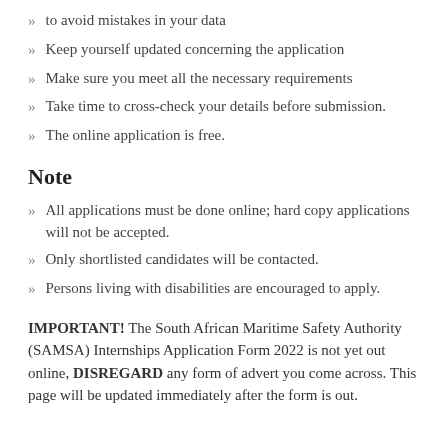to avoid mistakes in your data
Keep yourself updated concerning the application
Make sure you meet all the necessary requirements
Take time to cross-check your details before submission.
The online application is free.
Note
All applications must be done online; hard copy applications will not be accepted.
Only shortlisted candidates will be contacted.
Persons living with disabilities are encouraged to apply.
IMPORTANT! The South African Maritime Safety Authority (SAMSA) Internships Application Form 2022 is not yet out online, DISREGARD any form of advert you come across. This page will be updated immediately after the form is out.